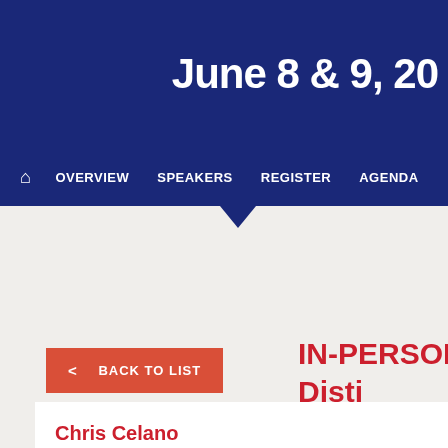June 8 & 9, 20
🏠  OVERVIEW  SPEAKERS  REGISTER  AGENDA
< BACK TO LIST
IN-PERSON 7  Disti
Chris Celano
President & CEO, IHI E&C International Corporation